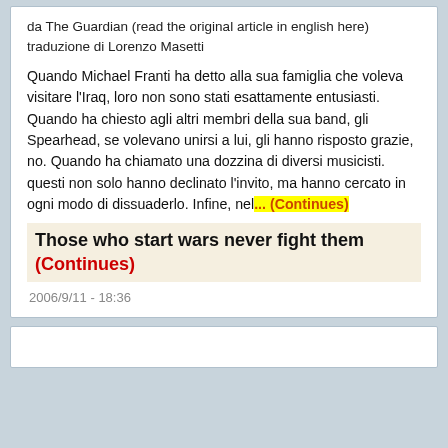da The Guardian (read the original article in english here)
traduzione di Lorenzo Masetti
Quando Michael Franti ha detto alla sua famiglia che voleva visitare l'Iraq, loro non sono stati esattamente entusiasti. Quando ha chiesto agli altri membri della sua band, gli Spearhead, se volevano unirsi a lui, gli hanno risposto grazie, no. Quando ha chiamato una dozzina di diversi musicisti. questi non solo hanno declinato l'invito, ma hanno cercato in ogni modo di dissuaderlo. Infine, nel... (Continues)
Those who start wars never fight them (Continues)
2006/9/11 - 18:36